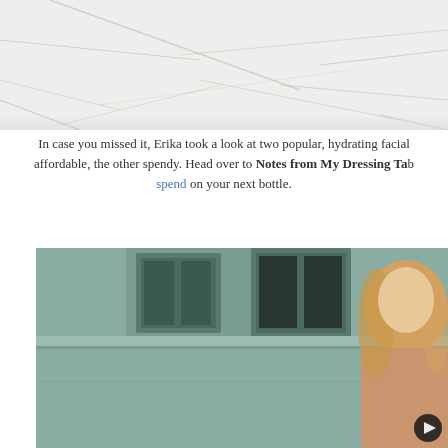[Figure (photo): White marble surface texture with grey veining, partial view cropped at top]
In case you missed it, Erika took a look at two popular, hydrating facial ... affordable, the other spendy. Head over to Notes from My Dressing Ta... spend on your next bottle.
[Figure (photo): Woman with blonde hair wearing a tan/beige jacket standing in front of a teal/grey painted building with dark windows]